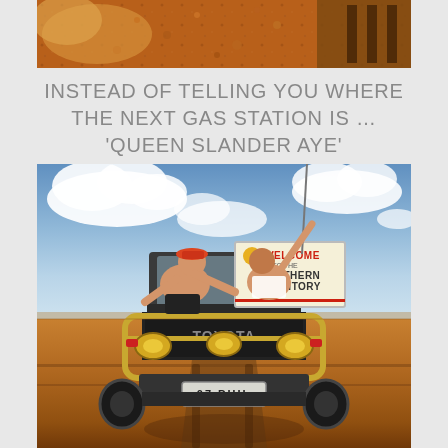[Figure (photo): Top portion of a photo showing red/orange dirt ground and what appears to be part of a vehicle, cropped at the top of the page]
INSTEAD OF TELLING YOU WHERE THE NEXT GAS STATION IS … 'QUEEN SLANDER AYE'
[Figure (photo): Photo of two men posing on top of a Toyota Land Cruiser (license plate 07 PHIL) in the Australian outback desert, holding a Welcome to the Northern Territory sign, with blue sky and clouds in the background]